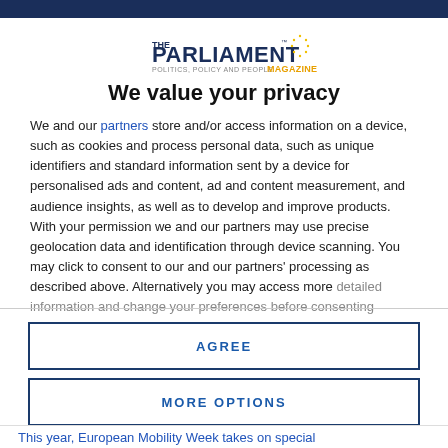[Figure (logo): The Parliament Magazine logo — 'THE PARLIAMENT MAGAZINE' with 'POLITICS, POLICY AND PEOPLE' subtitle and EU stars arc]
We value your privacy
We and our partners store and/or access information on a device, such as cookies and process personal data, such as unique identifiers and standard information sent by a device for personalised ads and content, ad and content measurement, and audience insights, as well as to develop and improve products. With your permission we and our partners may use precise geolocation data and identification through device scanning. You may click to consent to our and our partners' processing as described above. Alternatively you may access more detailed information and change your preferences before consenting
AGREE
MORE OPTIONS
This year, European Mobility Week takes on special